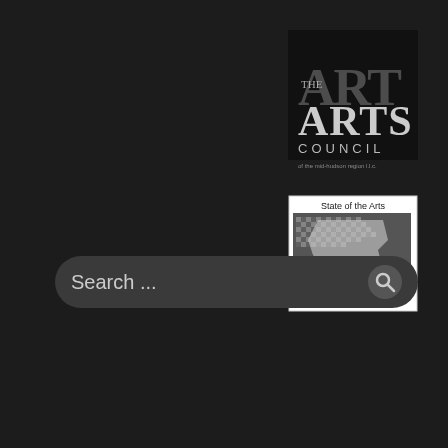[Figure (logo): The Arts Council logo on black background with large stylized 'ART' letters and 'THE ARTS COUNCIL' text below]
[Figure (logo): NYSCA State of the Arts logo with checkered map of New York state and 'NYSCA' text below]
Search ...